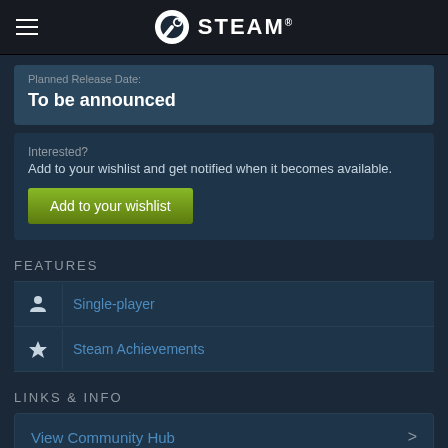STEAM
Planned Release Date:
To be announced
Interested?
Add to your wishlist and get notified when it becomes available.
Add to your wishlist
FEATURES
Single-player
Steam Achievements
LINKS & INFO
View Community Hub